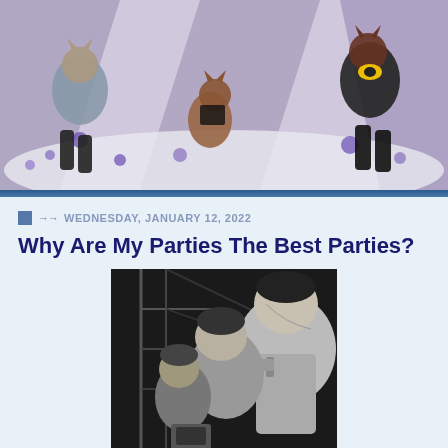[Figure (photo): Chaotic collage image showing anthropomorphic cats dressed as wrestlers or fighters on a purple and white background, mid-action scene]
WEDNESDAY, JANUARY 12, 2022
Why Are My Parties The Best Parties?
[Figure (photo): Black and white photograph of men in uniforms leaning forward, viewed from the side, in an industrial or military setting]